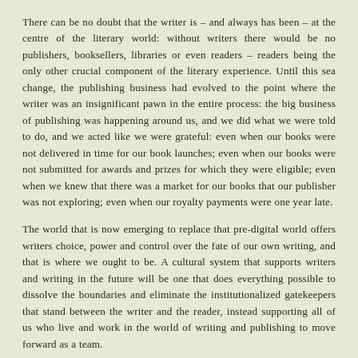There can be no doubt that the writer is – and always has been – at the centre of the literary world: without writers there would be no publishers, booksellers, libraries or even readers – readers being the only other crucial component of the literary experience. Until this sea change, the publishing business had evolved to the point where the writer was an insignificant pawn in the entire process: the big business of publishing was happening around us, and we did what we were told to do, and we acted like we were grateful: even when our books were not delivered in time for our book launches; even when our books were not submitted for awards and prizes for which they were eligible; even when we knew that there was a market for our books that our publisher was not exploring; even when our royalty payments were one year late.
The world that is now emerging to replace that pre-digital world offers writers choice, power and control over the fate of our own writing, and that is where we ought to be. A cultural system that supports writers and writing in the future will be one that does everything possible to dissolve the boundaries and eliminate the institutionalized gatekeepers that stand between the writer and the reader, instead supporting all of us who live and work in the world of writing and publishing to move forward as a team.